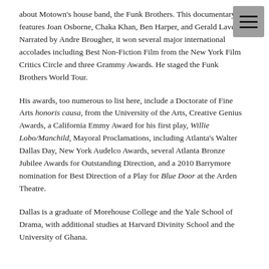about Motown's house band, the Funk Brothers. This documentary features Joan Osborne, Chaka Khan, Ben Harper, and Gerald Lavert. Narrated by Andre Brougher, it won several major international accolades including Best Non-Fiction Film from the New York Film Critics Circle and three Grammy Awards. He staged the Funk Brothers World Tour.
His awards, too numerous to list here, include a Doctorate of Fine Arts honoris causa, from the University of the Arts, Creative Genius Awards, a California Emmy Award for his first play, Willie Lobo/Manchild, Mayoral Proclamations, including Atlanta's Walter Dallas Day, New York Audelco Awards, several Atlanta Bronze Jubilee Awards for Outstanding Direction, and a 2010 Barrymore nomination for Best Direction of a Play for Blue Door at the Arden Theatre.
Dallas is a graduate of Morehouse College and the Yale School of Drama, with additional studies at Harvard Divinity School and the University of Ghana.